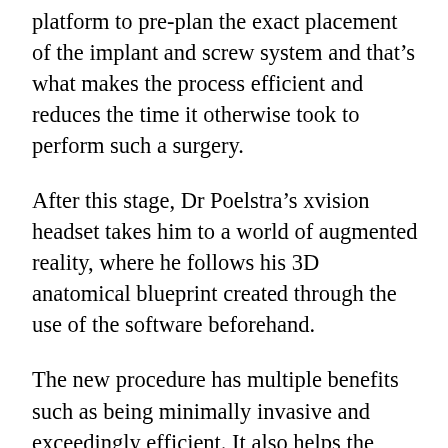platform to pre-plan the exact placement of the implant and screw system and that’s what makes the process efficient and reduces the time it otherwise took to perform such a surgery.
After this stage, Dr Poelstra’s xvision headset takes him to a world of augmented reality, where he follows his 3D anatomical blueprint created through the use of the software beforehand.
The new procedure has multiple benefits such as being minimally invasive and exceedingly efficient. It also helps the team place the implants with advanced precision, thereby also reducing time spent under anaesthesia in the operating room.
Dr Poelstra, who has a PhD in Biomedical Engineering from the University of Groningen,